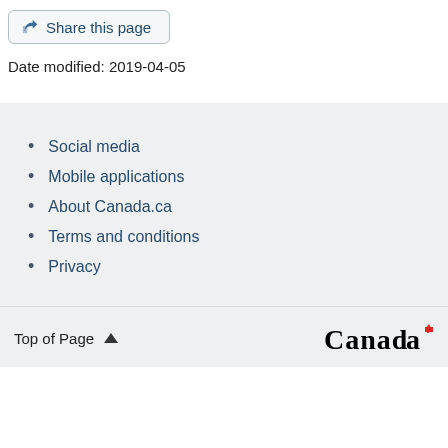Share this page
Date modified: 2019-04-05
Social media
Mobile applications
About Canada.ca
Terms and conditions
Privacy
Top of Page